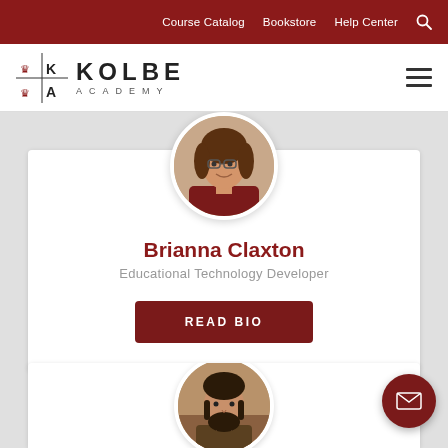Course Catalog  Bookstore  Help Center
[Figure (logo): Kolbe Academy logo with K|A emblem and crown]
[Figure (photo): Circular portrait photo of Brianna Claxton, a young woman with glasses and curly brown hair]
Brianna Claxton
Educational Technology Developer
READ BIO
[Figure (photo): Partial circular portrait photo of a man with dark beard, second profile card partially visible at bottom]